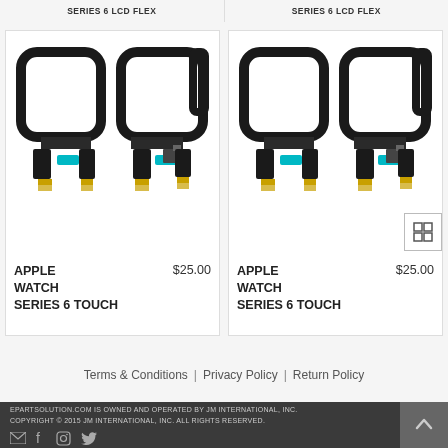SERIES 6 LCD FLEX
SERIES 6 LCD FLEX
[Figure (photo): Apple Watch Series 6 Touch digitizer/flex cable components showing two watch digitizer assemblies side by side]
APPLE WATCH SERIES 6 TOUCH
$25.00
[Figure (photo): Apple Watch Series 6 Touch digitizer/flex cable components showing two watch digitizer assemblies side by side]
APPLE WATCH SERIES 6 TOUCH
$25.00
Terms & Conditions | Privacy Policy | Return Policy
EPARTSOLUTION.COM IS OWNED AND OPERATED BY JM INTERNATIONAL, INC. COPYRIGHT © 2015 JM INTERNATIONAL, INC. ALL RIGHTS RESERVED.